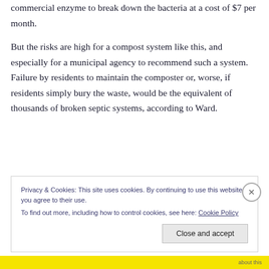commercial enzyme to break down the bacteria at a cost of $7 per month.
But the risks are high for a compost system like this, and especially for a municipal agency to recommend such a system. Failure by residents to maintain the composter or, worse, if residents simply bury the waste, would be the equivalent of thousands of broken septic systems, according to Ward.
Privacy & Cookies: This site uses cookies. By continuing to use this website, you agree to their use.
To find out more, including how to control cookies, see here: Cookie Policy
Close and accept